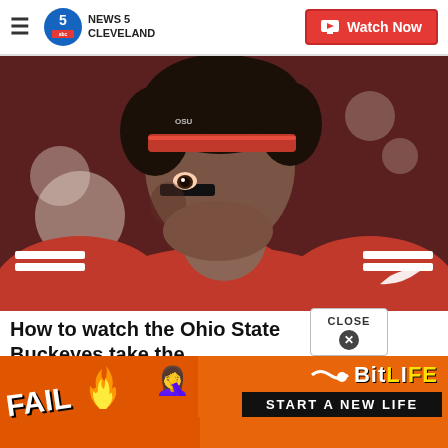NEWS 5 CLEVELAND — Watch Now
[Figure (photo): Ohio State Buckeyes football player wearing red uniform and red headband with black eye black, looking upward, close-up portrait shot]
How to watch the Ohio State Buckeyes take the...
[Figure (advertisement): BitLife game advertisement with orange background, FAIL text, emoji characters, fire, and 'START A NEW LIFE' call to action on black banner]